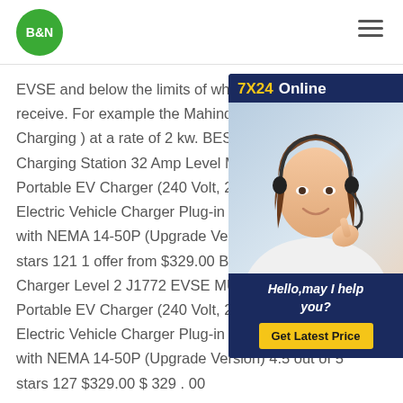B&N
[Figure (other): Customer service chat popup widget with '7X24 Online' header, photo of woman with headset, 'Hello,may I help you?' text, and 'Get Latest Price' button]
EVSE and below the limits of what the receive. For example the Mahindra e2o Charging ) at a rate of 2 kw. BESENE Charging Station 32 Amp Level MUST Portable EV Charger (240 Volt, 25ft Ca Electric Vehicle Charger Plug-in EV Ch with NEMA 14-50P (Upgrade Version) stars 121 1 offer from $329.00 BESEN Charger Level 2 J1772 EVSE MUSTART Level 2 Portable EV Charger (240 Volt, 25ft Cable, 32 Amp ), Electric Vehicle Charger Plug-in EV Charging Station with NEMA 14-50P (Upgrade Version) 4.5 out of 5 stars 127 $329.00 $ 329 . 00